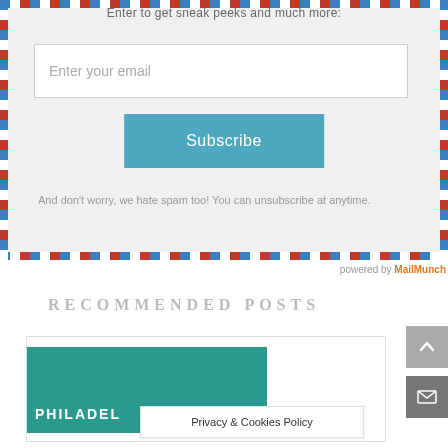Enter to get sneak peeks and much more:
[Figure (screenshot): Email subscription input field with placeholder text 'Enter your email']
[Figure (screenshot): Subscribe button in teal/blue color]
And don't worry, we hate spam too! You can unsubscribe at anytime.
powered by MailMunch
RECOMMENDED POSTS
[Figure (photo): Philadelphia stamp image on teal background]
Privacy & Cookies Policy